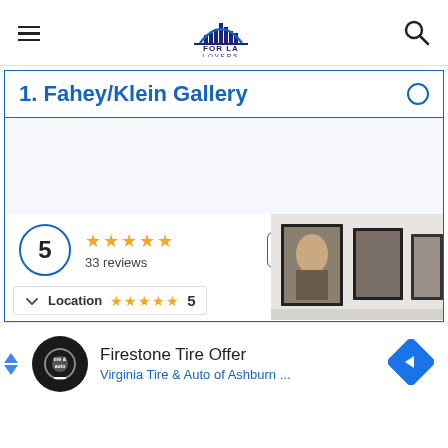FOR LA LOVERS (logo + navigation)
1. Fahey/Klein Gallery
[Figure (photo): Interior view of Fahey/Klein Gallery showing framed photographs on white walls]
5  ★★★★★  33 reviews
MORE PHOTOS
Location  ★★★★★  5
Firestone Tire Offer
Virginia Tire & Auto of Ashburn ...